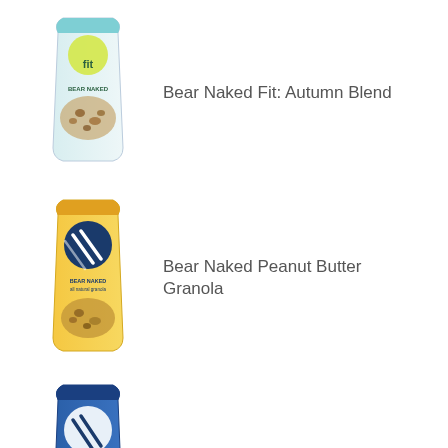[Figure (photo): Bear Naked Fit Autumn Blend granola bag product image]
Bear Naked Fit: Autumn Blend
[Figure (photo): Bear Naked Peanut Butter Granola bag product image]
Bear Naked Peanut Butter Granola
[Figure (photo): Bear Naked Blueberry Walnut Granola bag product image]
Blueberry Walnut Granola
[Figure (photo): Bear Naked Chocolate Almond Clusters box product image]
Chocolate Almond Clusters